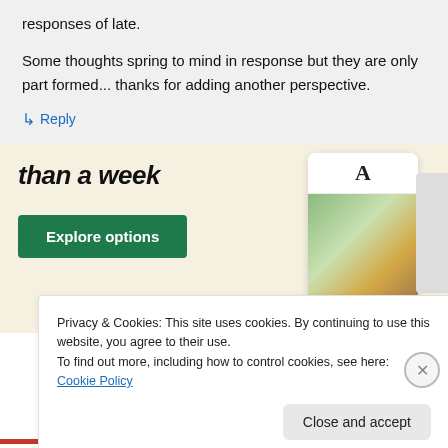responses of late.

Some thoughts spring to mind in response but they are only part formed... thanks for adding another perspective.
↳ Reply
[Figure (screenshot): Advertisement banner with text 'than a week' in bold italic, a green 'Explore options' button, and UI card mockups showing a food/restaurant website interface with an 'A' logo card and food images.]
Privacy & Cookies: This site uses cookies. By continuing to use this website, you agree to their use.
To find out more, including how to control cookies, see here: Cookie Policy
Close and accept